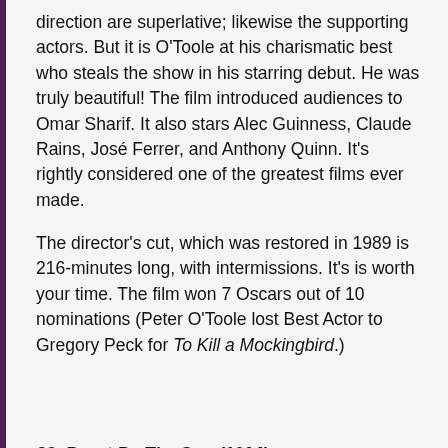direction are superlative; likewise the supporting actors. But it is O'Toole at his charismatic best who steals the show in his starring debut. He was truly beautiful!  The film introduced audiences to Omar Sharif. It also stars Alec Guinness, Claude Rains, José Ferrer, and Anthony Quinn. It's rightly considered one of the greatest films ever made.
The director's cut, which was restored in 1989 is 216-minutes long, with intermissions. It's is worth your time.  The film won 7 Oscars out of 10 nominations (Peter O'Toole lost Best Actor to Gregory Peck for To Kill a Mockingbird.)
23. Burnt By The Sun (1994)
A heartbreaking and beautiful film written by, starring, and directed by Nikita Mikhalkov.  Set in the Soviet Union during the summer of 1936, Army commander Sergei (Mikhalkov) is